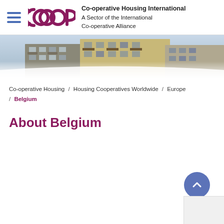Co-operative Housing International — A Sector of the International Co-operative Alliance
[Figure (photo): Hero banner photo of apartment building facade with balconies, sky in background]
Co-operative Housing / Housing Cooperatives Worldwide / Europe / Belgium
About Belgium